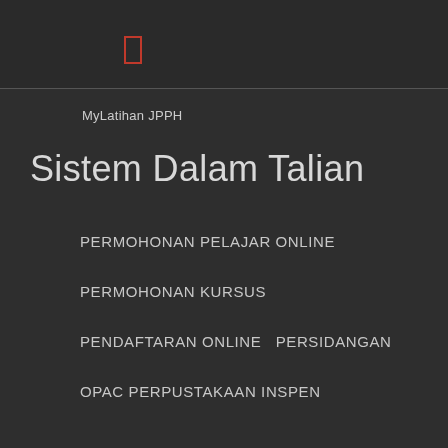[Figure (other): Small red outlined rectangle icon in the header area]
MyLatihan JPPH
Sistem Dalam Talian
PERMOHONAN PELAJAR ONLINE
PERMOHONAN KURSUS
PENDAFTARAN ONLINE  PERSIDANGAN
OPAC PERPUSTAKAAN INSPEN